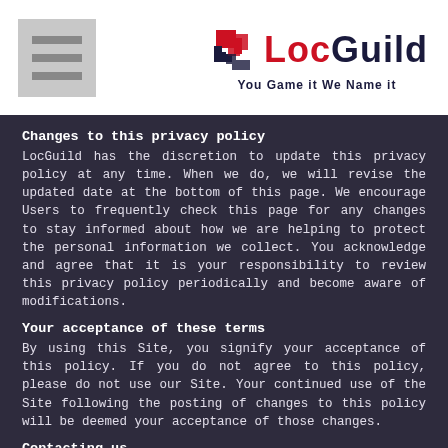[Figure (logo): LocGuild logo with hamburger menu icon. Red and navy puzzle-piece icon, 'Loc' in red and 'Guild' in dark navy bold text, tagline 'You Game it We Name it']
Changes to this privacy policy
LocGuild has the discretion to update this privacy policy at any time. When we do, we will revise the updated date at the bottom of this page. We encourage Users to frequently check this page for any changes to stay informed about how we are helping to protect the personal information we collect. You acknowledge and agree that it is your responsibility to review this privacy policy periodically and become aware of modifications.
Your acceptance of these terms
By using this Site, you signify your acceptance of this policy. If you do not agree to this policy, please do not use our Site. Your continued use of the Site following the posting of changes to this policy will be deemed your acceptance of those changes.
Contacting us
If you have any questions about this Privacy Policy, the practices of this site, or your dealings with this site, please contact us at: